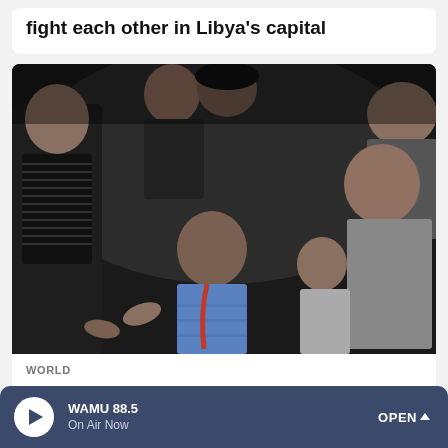fight each other in Libya's capital
[Figure (photo): A group of people, including young men and a child, crowded together in an emotional scene. One person in the center appears distressed while others surround and comfort him.]
WORLD
Palestinians grow frustrated with militants in Gaza, and a rift could be forming
WAMU 88.5 On Air Now OPEN ^